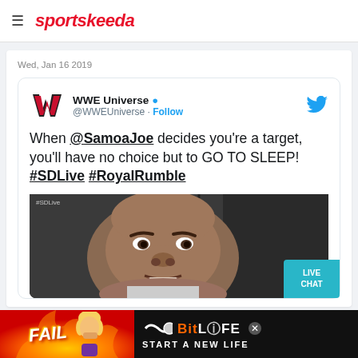sportskeeda
Wed, Jan 16 2019
[Figure (screenshot): Tweet from WWE Universe (@WWEUniverse) with verified badge and Follow button. Tweet text: When @SamoaJoe decides you're a target, you'll have no choice but to GO TO SLEEP! #SDLive #RoyalRumble. Includes image of Samoa Joe. Twitter bird icon top right.]
[Figure (infographic): BitLife advertisement banner: FAIL text on fire graphic left side, BitLife logo and START A NEW LIFE text on black background right side.]